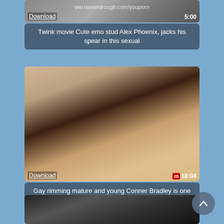[Figure (screenshot): Video thumbnail placeholder with Download link and 5:00 duration overlay, watermark www.rawandrough.com/youporn]
Twink movie Cute emo stud Alex Phoenix, jacks his spear in this sexual
[Figure (photo): Video thumbnail showing two tattooed men with Download link and 18:04 duration overlay]
Gay rimming mature and young Conner Bradley is one lucky man in this threway with Tyler
[Figure (photo): Partial video thumbnail, dark toned image, cropped at bottom of page]